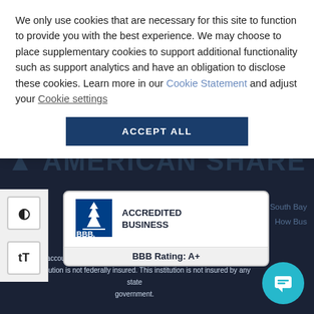We only use cookies that are necessary for this site to function to provide you with the best experience. We may choose to place supplementary cookies to support additional functionality such as support analytics and have an obligation to disclose these cookies. Learn more in our Cookie Statement and adjust your Cookie settings
ACCEPT ALL
[Figure (logo): BBB Accredited Business badge with BBB Rating: A+]
All accounts insured to $250,000 by AmericanShare Insurance. This institution is not federally insured. This institution is not insured by any state government.